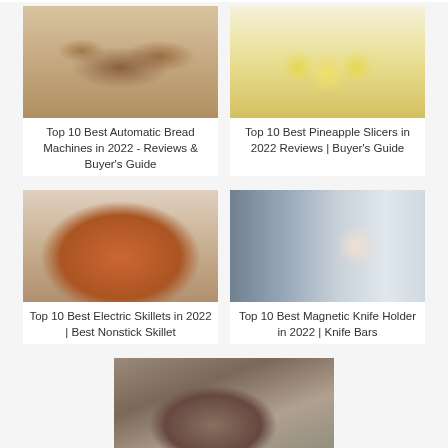[Figure (photo): Photo of bread loaves and slices with a bread machine in background]
Top 10 Best Automatic Bread Machines in 2022 - Reviews & Buyer's Guide
[Figure (photo): Photo of pineapple rings and pineapple slicer]
Top 10 Best Pineapple Slicers in 2022 Reviews | Buyer's Guide
[Figure (photo): Photo of food in an electric skillet pan]
Top 10 Best Electric Skillets in 2022 | Best Nonstick Skillet
[Figure (photo): Photo of woman with magnetic knife holder with knives]
Top 10 Best Magnetic Knife Holder in 2022 | Knife Bars
[Figure (photo): Photo of knife sharpener with vegetables in background]